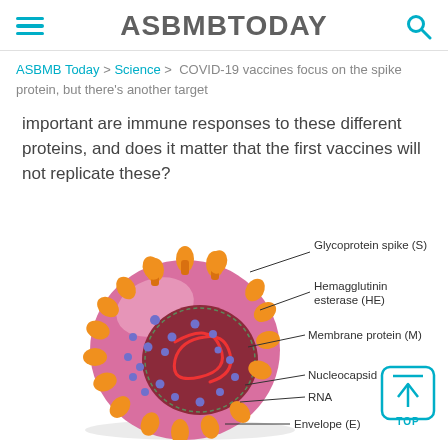ASBMBTODAY
ASBMB Today > Science > COVID-19 vaccines focus on the spike protein, but there's another target
important are immune responses to these different proteins, and does it matter that the first vaccines will not replicate these?
[Figure (illustration): Cross-section illustration of a coronavirus particle showing labeled components: Glycoprotein spike (S), Hemagglutinin esterase (HE), Membrane protein (M), Nucleocapsid (N), RNA, Envelope (E)]